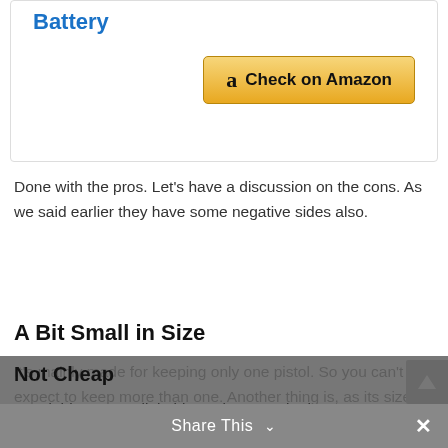Battery
[Figure (screenshot): Check on Amazon button with Amazon logo]
Done with the pros. Let’s have a discussion on the cons. As we said earlier they have some negative sides also.
A Bit Small in Size
It’s mainly made for keeping only one pistol. So you can’t just expect to keep more than one. Another thing is, as its size is not huge enough so if you want to carry something which is huge in size then you can’t!
Not Cheap
Good things are a little bit costly. But to be honest
Share This ∨
[Figure (screenshot): Scroll to top arrow button on right side]